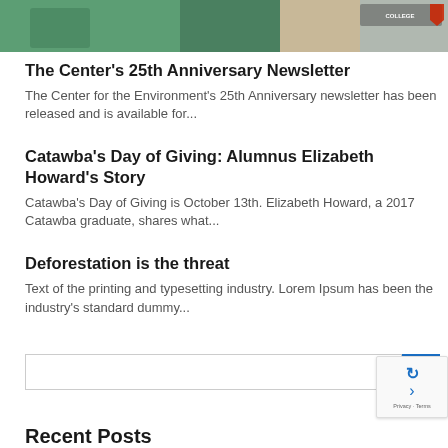[Figure (photo): Cropped photo strip showing people outdoors, with a college logo visible in the upper right]
The Center's 25th Anniversary Newsletter
The Center for the Environment's 25th Anniversary newsletter has been released and is available for...
Catawba's Day of Giving: Alumnus Elizabeth Howard's Story
Catawba's Day of Giving is October 13th. Elizabeth Howard, a 2017 Catawba graduate, shares what...
Deforestation is the threat
Text of the printing and typesetting industry. Lorem Ipsum has been the industry's standard dummy...
Recent Posts